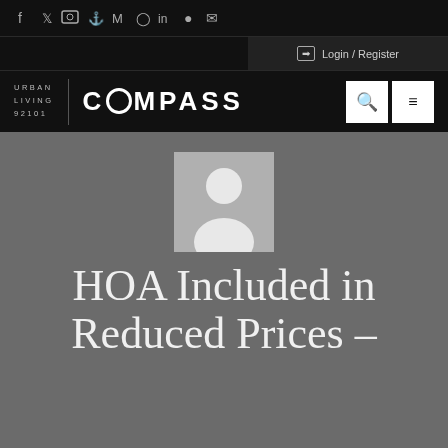Social icons: f, twitter, flickr, foursquare, google, pinterest, linkedin, location, email
Login / Register
[Figure (logo): Urban Living 92101 | COMPASS logo with search and menu buttons]
[Figure (illustration): Generic user avatar placeholder image (grey square with white silhouette person)]
HOA Included in Reduced Prices –